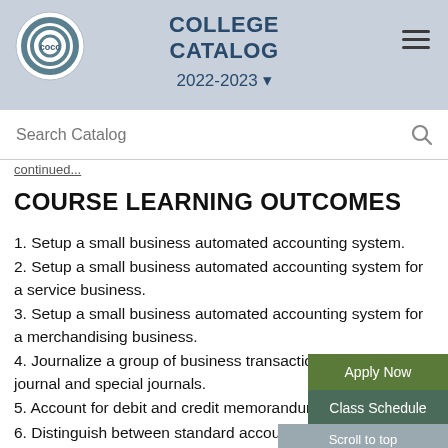COLLEGE CATALOG 2022-2023
Search Catalog
continued...
COURSE LEARNING OUTCOMES
1. Setup a small business automated accounting system.
2. Setup a small business automated accounting system for a service business.
3. Setup a small business automated accounting system for a merchandising business.
4. Journalize a group of business transactions into a general journal and special journals.
5. Account for debit and credit memorandums.
6. Distinguish between standard accounting systems and voucher system.
7. Maintain an order processing and inver...